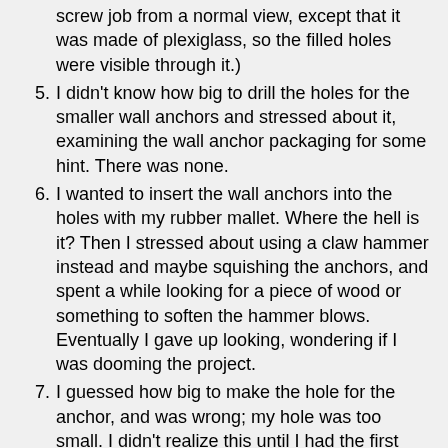(continuation) screw job from a normal view, except that it was made of plexiglass, so the filled holes were visible through it.)
5. I didn't know how big to drill the holes for the smaller wall anchors and stressed about it, examining the wall anchor packaging for some hint. There was none.
6. I wanted to insert the wall anchors into the holes with my rubber mallet. Where the hell is it? Then I stressed about using a claw hammer instead and maybe squishing the anchors, and spent a while looking for a piece of wood or something to soften the hammer blows. Eventually I gave up looking, wondering if I was dooming the project.
7. I guessed how big to make the hole for the anchor, and was wrong; my hole was too small. I didn't realize this until I had the first anchor halfway in. Then I stressed that I might ruin it when I pulled it back out of the wall.
8. Then I stressed about the size of the holes again when I drilled larger holes. What if I make the hole too big, and then have to fill all the holes and re-measure and re-drill the whole thing?
9. The anchors didn't go into two of the holes. I needed to yank them back out, then redrill the